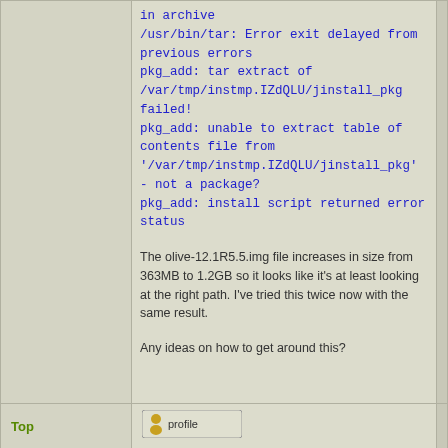in archive
/usr/bin/tar: Error exit delayed from previous errors
pkg_add: tar extract of /var/tmp/instmp.IZdQLU/jinstall_pkg failed!
pkg_add: unable to extract table of contents file from '/var/tmp/instmp.IZdQLU/jinstall_pkg' - not a package?
pkg_add: install script returned error status

The olive-12.1R5.5.img file increases in size from 363MB to 1.2GB so it looks like it's at least looking at the right path. I've tried this twice now with the same result.

Any ideas on how to get around this?
Top
[Figure (screenshot): Profile button with user icon]
rednectar
Post subject: Re: How to create a Junos Image for use in